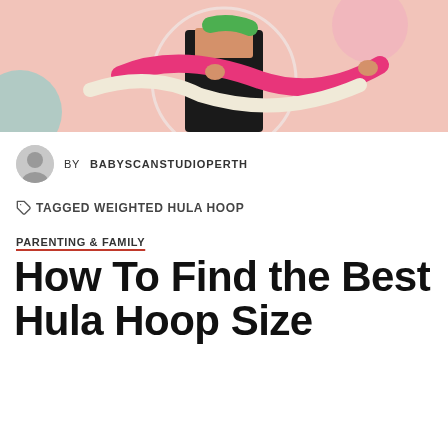[Figure (photo): Woman holding a colorful pink and white weighted hula hoop, wearing black athletic wear, against a pastel pink background with teal and pink circle shapes]
BY BABYSCANSTUDIOPERTH
TAGGED WEIGHTED HULA HOOP
PARENTING & FAMILY
How To Find the Best Hula Hoop Size